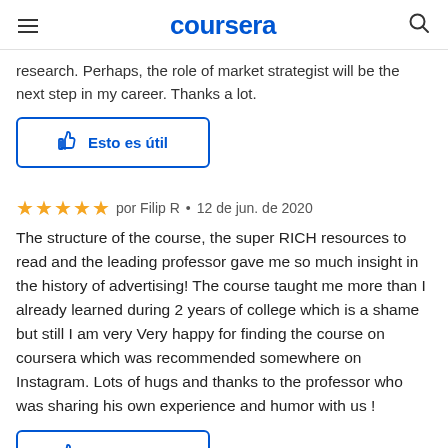coursera
research. Perhaps, the role of market strategist will be the next step in my career. Thanks a lot.
Esto es útil
por Filip R • 12 de jun. de 2020
The structure of the course, the super RICH resources to read and the leading professor gave me so much insight in the history of advertising! The course taught me more than I already learned during 2 years of college which is a shame but still I am very Very happy for finding the course on coursera which was recommended somewhere on Instagram. Lots of hugs and thanks to the professor who was sharing his own experience and humor with us !
Esto es útil